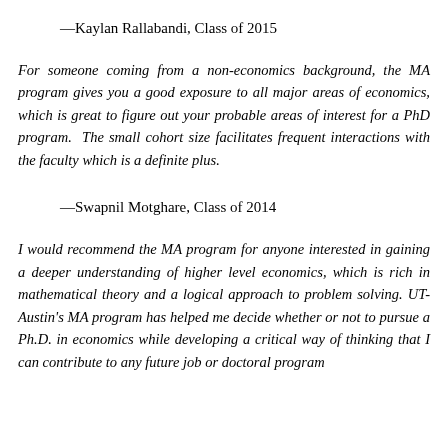—Kaylan Rallabandi, Class of 2015
For someone coming from a non-economics background, the MA program gives you a good exposure to all major areas of economics, which is great to figure out your probable areas of interest for a PhD program. The small cohort size facilitates frequent interactions with the faculty which is a definite plus.
—Swapnil Motghare, Class of 2014
I would recommend the MA program for anyone interested in gaining a deeper understanding of higher level economics, which is rich in mathematical theory and a logical approach to problem solving. UT-Austin's MA program has helped me decide whether or not to pursue a Ph.D. in economics while developing a critical way of thinking that I can contribute to any future job or doctoral program